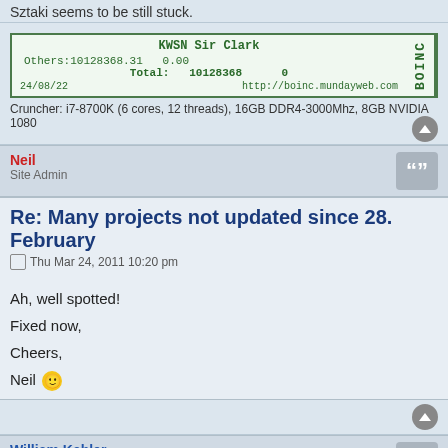Sztaki seems to be still stuck.
[Figure (other): BOINC stats card for KWSN Sir Clark showing Others:10128368.31  0.00, Total: 10128368  0, dated 24/08/22, from http://boinc.mundayweb.com]
Cruncher: i7-8700K (6 cores, 12 threads), 16GB DDR4-3000Mhz, 8GB NVIDIA 1080
Neil
Site Admin
Re: Many projects not updated since 28. February
Thu Mar 24, 2011 10:20 pm
Ah, well spotted!

Fixed now,

Cheers,

Neil 🙂
William Kahler
New Member